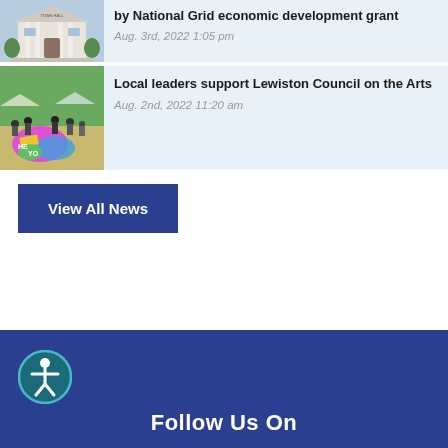[Figure (photo): Building exterior with white columns and steps, labeled Town Hall]
by National Grid economic development grant
Aug. 3rd, 2022 1:05 pm
[Figure (photo): Outdoor community event with colorful chalk art on pavement and crowd]
Local leaders support Lewiston Council on the Arts
Aug. 2nd, 2022 11:20 am
View All News
[Figure (logo): Accessibility icon — person in circle, teal border on dark blue background]
Follow Us On